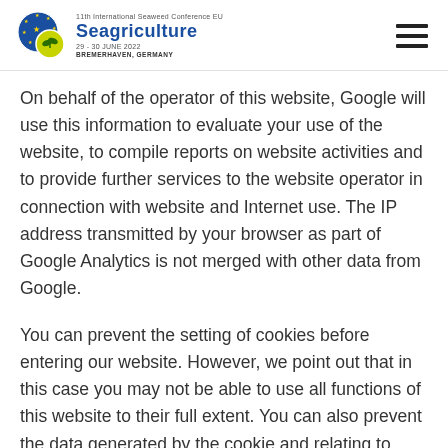Seagriculture 29-30 JUNE 2022 BREMERHAVEN, GERMANY
On behalf of the operator of this website, Google will use this information to evaluate your use of the website, to compile reports on website activities and to provide further services to the website operator in connection with website and Internet use. The IP address transmitted by your browser as part of Google Analytics is not merged with other data from Google.
You can prevent the setting of cookies before entering our website. However, we point out that in this case you may not be able to use all functions of this website to their full extent. You can also prevent the data generated by the cookie and relating to your use of the website (including your IP address) from being passed